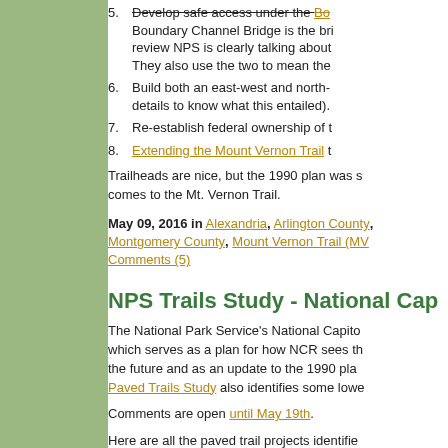5. Develop safe access under the Boundary Channel Bridge isthe bridge Boundary Channel Bridge is the bridge review NPS is clearly talking about They also use the two to mean the
6. Build both an east-west and north- details to know what this entailed).
7. Re-establish federal ownership of t
8. Extending the Mount Vernon Trail t
Trailheads are nice, but the 1990 plan was s comes to the Mt. Vernon Trail.
May 09, 2016 in Alexandria, Arlington County, Montgomery County, Mount Vernon Trail (MV Comments (5)
NPS Trails Study - National Cap
The National Park Service's National Capito which serves as a plan for how NCR sees th the future and as an update to the 1990 plan Paved Trails Study also identifies some lowe
Comments are open until May 19th.
Here are all the paved trail projects identified which it defines as asphalt or concrete trails. Towpath and the Fort Circle Hiker Biker Trail significance.
1. (F1.1) Develop an on-street conne